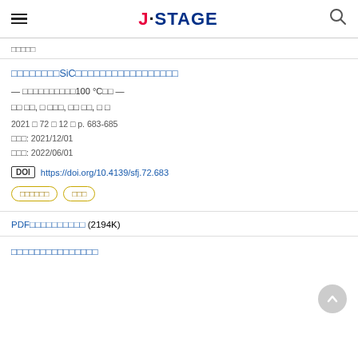J-STAGE
□□□□□
□□□□□□□□SiC□□□□□□□□□□□□□□□□□
— □□□□□□□□□□100 °C□□ —
□□ □□, □ □□□, □□ □□, □ □
2021 □ 72 □ 12 □ p. 683-685
□□□: 2021/12/01
□□□: 2022/06/01
DOI https://doi.org/10.4139/sfj.72.683
□□□□□□  □□□
PDF□□□□□□□□□□ (2194K)
□□□□□□□□□□□□□□□